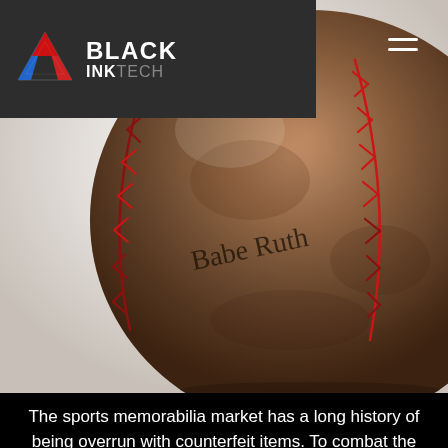BLACK INKTECH
[Figure (photo): Close-up photograph of an old, worn baseball with red stitching and a handwritten autograph (appears to read 'Babe Ruth') displayed on a stand against a white background]
The sports memorabilia market has a long history of being overrun with counterfeit items. To combat the problem, sports leagues, particularly the Major League Baseball, have beefed up their authentication processes. Nonetheless, most experts estimate that over half of the objects currently on the market are